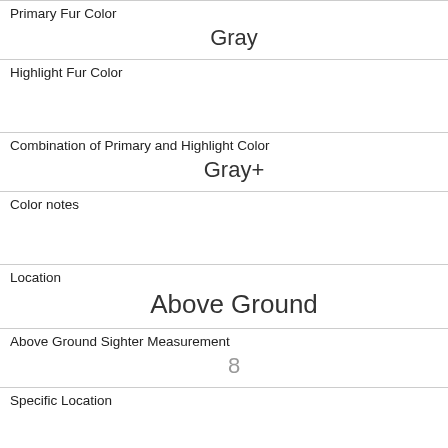| Primary Fur Color | Gray |
| Highlight Fur Color |  |
| Combination of Primary and Highlight Color | Gray+ |
| Color notes |  |
| Location | Above Ground |
| Above Ground Sighter Measurement | 8 |
| Specific Location |  |
| Running | 0 |
| Chasing | 1 |
| Climbing | 0 |
| Eating |  |